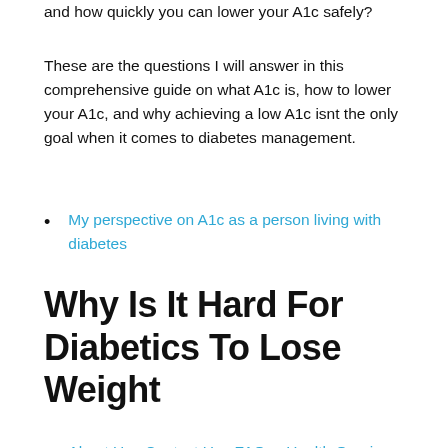and how quickly you can lower your A1c safely?
These are the questions I will answer in this comprehensive guide on what A1c is, how to lower your A1c, and why achieving a low A1c isnt the only goal when it comes to diabetes management.
My perspective on A1c as a person living with diabetes
Why Is It Hard For Diabetics To Lose Weight
About Us  Contact Us  FAQs  Health Queries  Terms and Conditions  Returns Policy  Refund Policy  Privacy Policy  Apollo 247 Android App